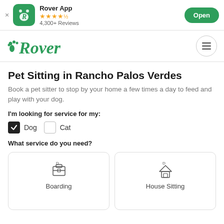[Figure (screenshot): Rover App store banner with green icon, 4.5 star rating, 4,300+ Reviews, and Open button]
[Figure (logo): Rover green logo with paw print and hamburger menu icon]
Pet Sitting in Rancho Palos Verdes
Book a pet sitter to stop by your home a few times a day to feed and play with your dog.
I'm looking for service for my:
Dog (checked), Cat (unchecked)
What service do you need?
[Figure (screenshot): Boarding service card with briefcase icon]
[Figure (screenshot): House Sitting service card with house icon]